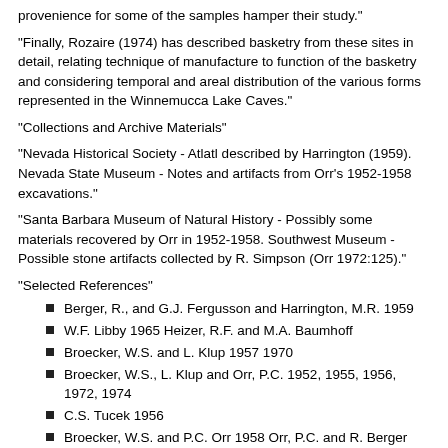provenience for some of the samples hamper their study."
"Finally, Rozaire (1974) has described basketry from these sites in detail, relating technique of manufacture to function of the basketry and considering temporal and areal distribution of the various forms represented in the Winnemucca Lake Caves."
"Collections and Archive Materials"
"Nevada Historical Society - Atlatl described by Harrington (1959). Nevada State Museum - Notes and artifacts from Orr's 1952-1958 excavations."
"Santa Barbara Museum of Natural History - Possibly some materials recovered by Orr in 1952-1958. Southwest Museum - Possible stone artifacts collected by R. Simpson (Orr 1972:125)."
"Selected References"
Berger, R., and G.J. Fergusson and Harrington, M.R. 1959
W.F. Libby 1965 Heizer, R.F. and M.A. Baumhoff
Broecker, W.S. and L. Klup 1957 1970
Broecker, W.S., L. Klup and Orr, P.C. 1952, 1955, 1956, 1972, 1974
C.S. Tucek 1956
Broecker, W.S. and P.C. Orr 1958 Orr, P.C. and R. Berger 1965
Crane, H.R. and J.B. Griffin 1958 Rozaire, C.E. 1974
Grosscup, G.L. 1958 Sears, P.B. and A. Rossma 1961